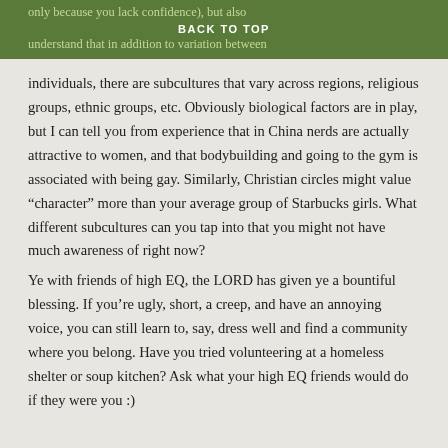only because you lack confidence), but also
BACK TO TOP
understand that in addition to variation between
individuals, there are subcultures that vary across regions, religious groups, ethnic groups, etc. Obviously biological factors are in play, but I can tell you from experience that in China nerds are actually attractive to women, and that bodybuilding and going to the gym is associated with being gay. Similarly, Christian circles might value “character” more than your average group of Starbucks girls. What different subcultures can you tap into that you might not have much awareness of right now?
Ye with friends of high EQ, the LORD has given ye a bountiful blessing. If you’re ugly, short, a creep, and have an annoying voice, you can still learn to, say, dress well and find a community where you belong. Have you tried volunteering at a homeless shelter or soup kitchen? Ask what your high EQ friends would do if they were you :)